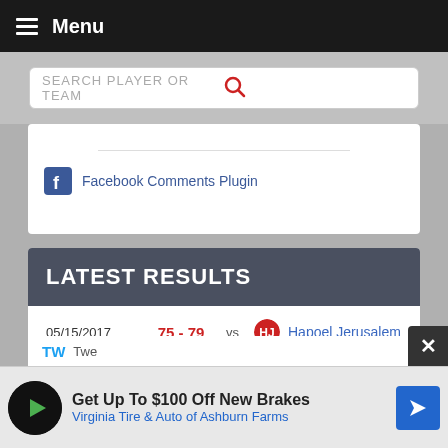Menu
SEARCH PLAYER OR TEAM
Facebook Comments Plugin
LATEST RESULTS
| Date | Score | Venue | Opponent |
| --- | --- | --- | --- |
| 05/15/2017 | 75 - 79 | vs | Hapoel Jerusalem |
| 05/11/2017 | 90 - 81 | at | Hapoel Eilat |
| 05/08/2017 | 101 - 95 | vs | Bnei Hasharon |
| 05/04/2017 | 72 - 100 | at | Hapoel Holon |
TW...
Get Up To $100 Off New Brakes Virginia Tire & Auto of Ashburn Farms